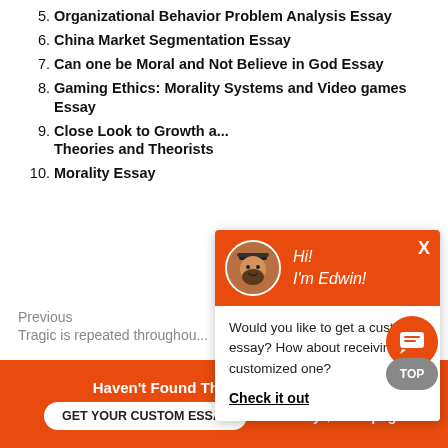5. Organizational Behavior Problem Analysis Essay
6. China Market Segmentation Essay
7. Can one be Moral and Not Believe in God Essay
8. Gaming Ethics: Morality Systems and Video games Essay
9. Close Look to Growth and ... Theories and Theorists
10. Morality Essay
Previous
Tragic is repeated throughou...
[Figure (screenshot): Chat popup with Edwin's avatar, orange header saying Hi! I'm Edwin!, body text: Would you like to get a custom essay? How about receiving a customized one? Check it out link.]
Haven't Found The Essay You Want?
GET YOUR CUSTOM ESSAY
For Only $13.90/page